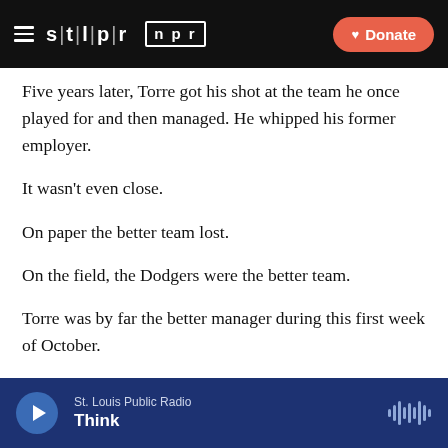STLPR NPR Donate
Five years later, Torre got his shot at the team he once played for and then managed. He whipped his former employer.
It wasn't even close.
On paper the better team lost.
On the field, the Dodgers were the better team.
Torre was by far the better manager during this first week of October.
I've always enjoyed the offseason in baseball because more than any other sport, it defines who will be what
St. Louis Public Radio Think